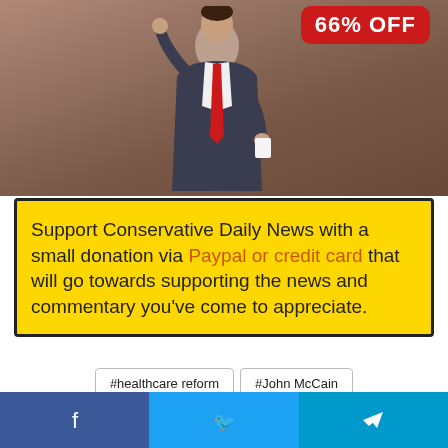[Figure (photo): A man in a dark suit with a red tie raising his arm, with a red badge showing '66% OFF' in the top right corner.]
Support Conservative Daily News with a small donation via Paypal or credit card that will go towards supporting the news and commentary you've come to appreciate.
#healthcare reform
#John McCain